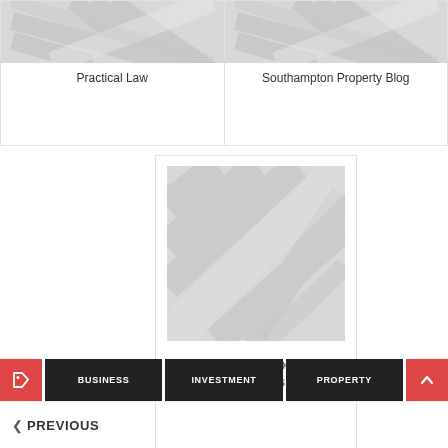[Figure (illustration): Placeholder image with diagonal stripe pattern for Practical Law card]
Practical Law
[Figure (illustration): Placeholder image with diagonal stripe pattern for Southampton Property Blog card]
Southampton Property Blog
[Figure (illustration): Placeholder image with diagonal stripe pattern for Tips On Owning Property Under Five Lakhs card]
Tips On Owning Property Under Five Lakhs
BUSINESS  INVESTMENT  PROPERTY
PREVIOUS